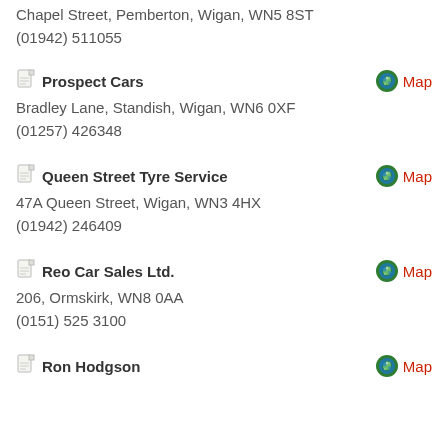Chapel Street, Pemberton, Wigan, WN5 8ST
(01942) 511055
Prospect Cars
Bradley Lane, Standish, Wigan, WN6 0XF
(01257) 426348
Queen Street Tyre Service
47A Queen Street, Wigan, WN3 4HX
(01942) 246409
Reo Car Sales Ltd.
206, Ormskirk, WN8 0AA
(0151) 525 3100
Ron Hodgson